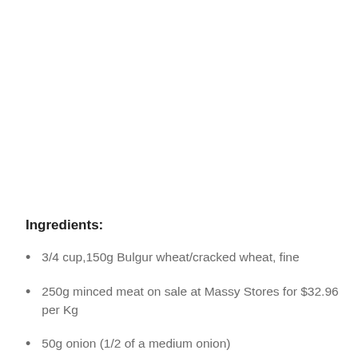Ingredients:
3/4 cup,150g Bulgur wheat/cracked wheat, fine
250g minced meat on sale at Massy Stores for $32.96 per Kg
50g onion (1/2 of a medium onion)